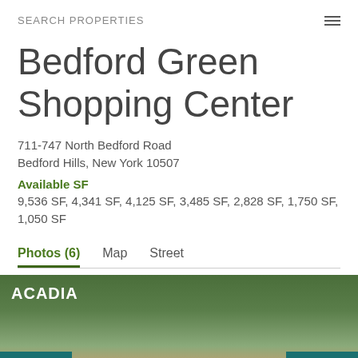SEARCH PROPERTIES
Bedford Green Shopping Center
711-747 North Bedford Road
Bedford Hills, New York 10507
Available SF
9,536 SF, 4,341 SF, 4,125 SF, 3,485 SF, 2,828 SF, 1,750 SF, 1,050 SF
Photos (6)  Map  Street
[Figure (photo): Exterior photo of Bedford Green Shopping Center with Acadia logo overlay and navigation arrows. Shows a shopping center with trees and storefronts.]